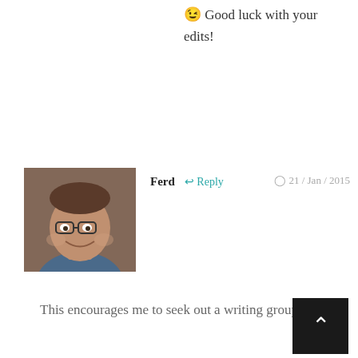😉 Good luck with your edits!
[Figure (photo): Avatar photo of Ferd, middle-aged man]
Ferd ↩ Reply  🕐 21 / Jan / 2015
This encourages me to seek out a writing group!
[Figure (photo): Avatar photo of Gwen Hernandez, blonde woman]
Gwen Hernandez  🕐 / Jan / 2015  ↩ Reply
Yes, Ferd, I can't recommend it enough. The local libra can be a good start. Wri